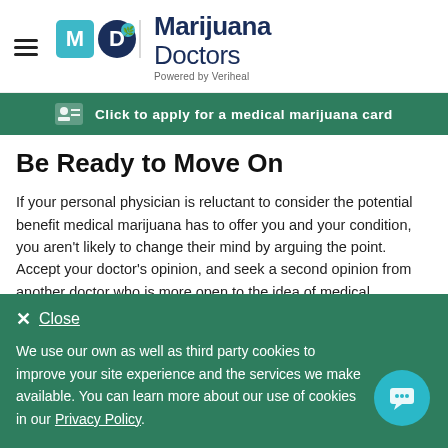Marijuana Doctors — Powered by Veriheal
Click to apply for a medical marijuana card
Be Ready to Move On
If your personal physician is reluctant to consider the potential benefit medical marijuana has to offer you and your condition, you aren't likely to change their mind by arguing the point. Accept your doctor's opinion, and seek a second opinion from another doctor who is more open to the idea of medical marijuana as a treatment.
Through the web portal at MarijuanaDoctors.com, you can search for
We use our own as well as third party cookies to improve your site experience and the services we make available. You can learn more about our use of cookies in our Privacy Policy.